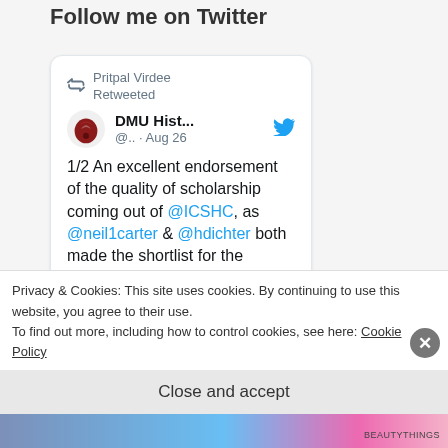Follow me on Twitter
[Figure (screenshot): Embedded tweet card showing Pritpal Virdee Retweeted. DMU Hist... @.. · Aug 26. Text: 1/2 An excellent endorsement of the quality of scholarship coming out of @ICSHC, as @neil1carter & @hdichter both made the shortlist for the @BritSportHisSoc Lord]
Privacy & Cookies: This site uses cookies. By continuing to use this website, you agree to their use.
To find out more, including how to control cookies, see here: Cookie Policy
Close and accept